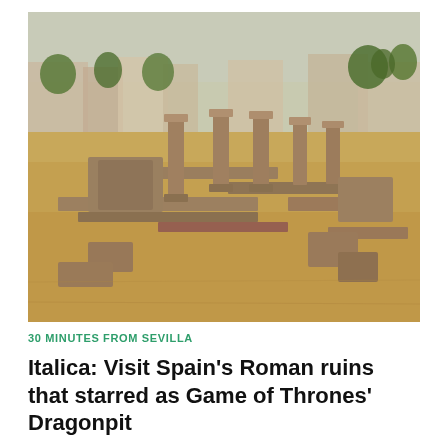[Figure (photo): Aerial view of Italica Roman ruins showing brick foundations, stone columns, and archaeological excavations with a Spanish town and trees visible in the background under a hazy sky.]
30 MINUTES FROM SEVILLA
Italica: Visit Spain's Roman ruins that starred as Game of Thrones' Dragonpit
APRIL 6, 2021
Just 9km as the bird flies north west from Sevilla are